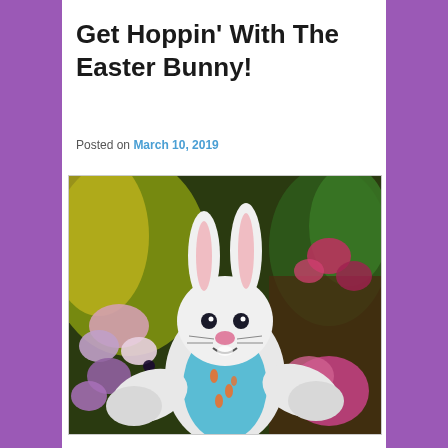Get Hoppin' With The Easter Bunny!
Posted on March 10, 2019
[Figure (photo): Easter Bunny costume character with white fur, pink-lined ears, blue carrot-print vest, white gloves, surrounded by colorful Easter eggs and greenery background]